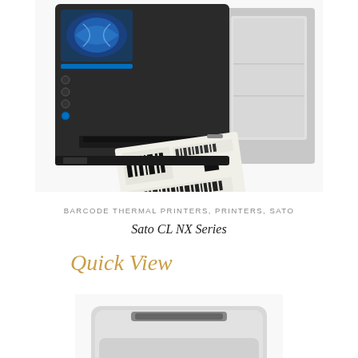[Figure (photo): SATO CL NX Series barcode thermal printer in dark gray/black color, printing a white label with barcode visible. The printer has a color touchscreen display on the left side and expandable paper compartment on the right.]
BARCODE THERMAL PRINTERS, PRINTERS, SATO
Sato CL NX Series
Quick View
[Figure (photo): A small light gray compact printer or device, partially visible at the bottom of the page.]